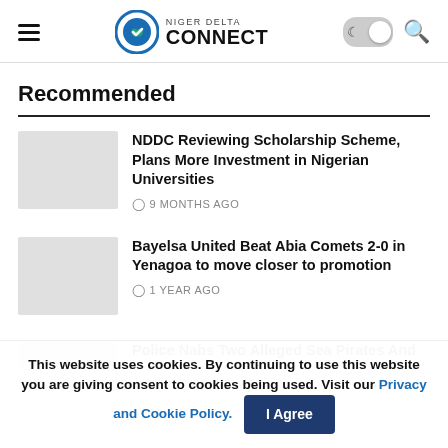Niger Delta Connect
Recommended
NDDC Reviewing Scholarship Scheme, Plans More Investment in Nigerian Universities — 9 MONTHS AGO
Bayelsa United Beat Abia Comets 2-0 in Yenagoa to move closer to promotion — 1 YEAR AGO
Police Nabs Two Alleged Sea Pirates And
This website uses cookies. By continuing to use this website you are giving consent to cookies being used. Visit our Privacy and Cookie Policy.